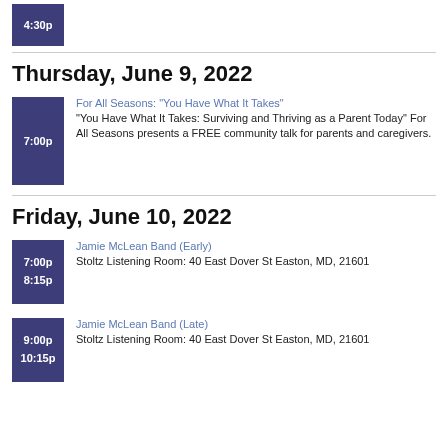4:30p
Thursday, June 9, 2022
7:00p — For All Seasons: "You Have What It Takes" — "You Have What It Takes: Surviving and Thriving as a Parent Today" For All Seasons presents a FREE community talk for parents and caregivers.
Friday, June 10, 2022
7:00p / 8:15p — Jamie McLean Band (Early) — Stoltz Listening Room: 40 East Dover St Easton, MD, 21601
9:00p / 10:15p — Jamie McLean Band (Late) — Stoltz Listening Room: 40 East Dover St Easton, MD, 21601